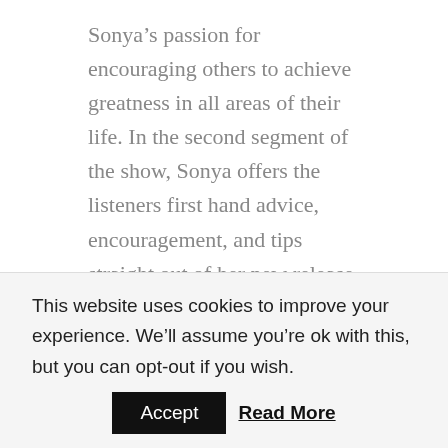Sonya’s passion for encouraging others to achieve greatness in all areas of their life. In the second segment of the show, Sonya offers the listeners first hand advice, encouragement, and tips straight out of her new release soon to be out, 44 Lessons From A Loser. We finish the show with LIVE life coaching from the listeners.
SONYA CAN RELATE:
Before Sonya’s participation on Biggest Loser, she admits to struggling with self-worth and self-
This website uses cookies to improve your experience. We’ll assume you’re ok with this, but you can opt-out if you wish.
Accept   Read More